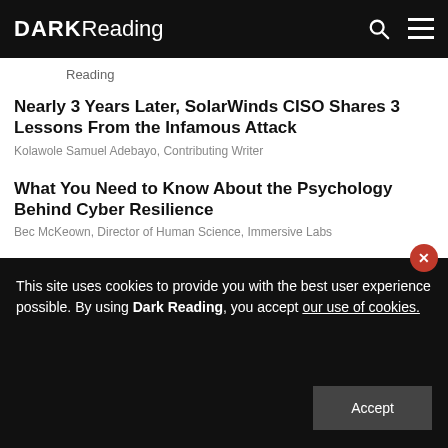DARK Reading
Reading
Nearly 3 Years Later, SolarWinds CISO Shares 3 Lessons From the Infamous Attack
Kolawole Samuel Adebayo, Contributing Writer
What You Need to Know About the Psychology Behind Cyber Resilience
Bec McKeown, Director of Human Science, Immersive Labs
This site uses cookies to provide you with the best user experience possible. By using Dark Reading, you accept our use of cookies.